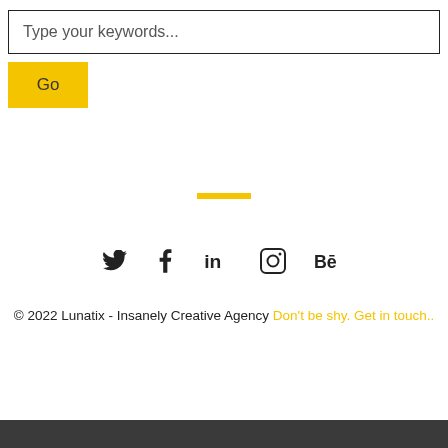Type your keywords...
Go
[Figure (other): Yellow horizontal decorative bar divider]
[Figure (other): Social media icons row: Twitter (bird), Facebook (f), LinkedIn (in), Instagram (camera), Behance (Be)]
© 2022 Lunatix - Insanely Creative Agency Don't be shy. Get in touch..